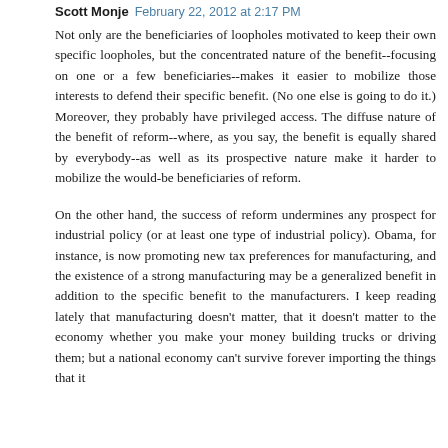Scott Monje  February 22, 2012 at 2:17 PM
Not only are the beneficiaries of loopholes motivated to keep their own specific loopholes, but the concentrated nature of the benefit--focusing on one or a few beneficiaries--makes it easier to mobilize those interests to defend their specific benefit. (No one else is going to do it.) Moreover, they probably have privileged access. The diffuse nature of the benefit of reform--where, as you say, the benefit is equally shared by everybody--as well as its prospective nature make it harder to mobilize the would-be beneficiaries of reform.
On the other hand, the success of reform undermines any prospect for industrial policy (or at least one type of industrial policy). Obama, for instance, is now promoting new tax preferences for manufacturing, and the existence of a strong manufacturing may be a generalized benefit in addition to the specific benefit to the manufacturers. I keep reading lately that manufacturing doesn't matter, that it doesn't matter to the economy whether you make your money building trucks or driving them; but a national economy can't survive forever importing the things that it